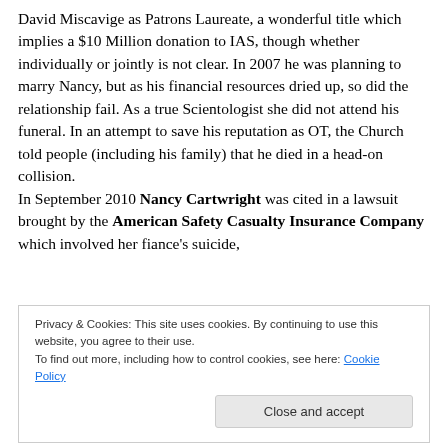David Miscavige as Patrons Laureate, a wonderful title which implies a $10 Million donation to IAS, though whether individually or jointly is not clear. In 2007 he was planning to marry Nancy, but as his financial resources dried up, so did the relationship fail. As a true Scientologist she did not attend his funeral. In an attempt to save his reputation as OT, the Church told people (including his family) that he died in a head-on collision. In September 2010 Nancy Cartwright was cited in a lawsuit brought by the American Safety Casualty Insurance Company which involved her fiance's suicide,
Privacy & Cookies: This site uses cookies. By continuing to use this website, you agree to their use. To find out more, including how to control cookies, see here: Cookie Policy
Close and accept
with Nancy as guarantor. When the project was halfway